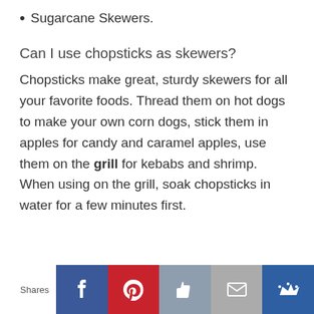Sugarcane Skewers.
Can I use chopsticks as skewers?
Chopsticks make great, sturdy skewers for all your favorite foods. Thread them on hot dogs to make your own corn dogs, stick them in apples for candy and caramel apples, use them on the grill for kebabs and shrimp. When using on the grill, soak chopsticks in water for a few minutes first.
Shares | Facebook | Pinterest | Like | Mail | Crown